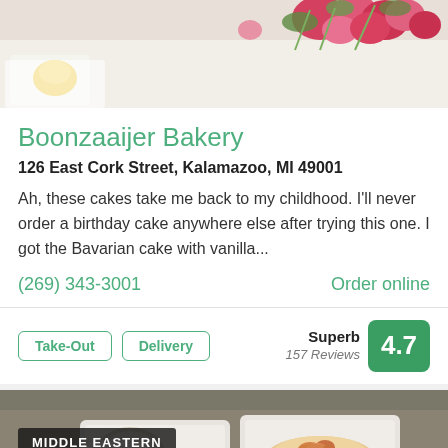[Figure (photo): Top portion of a bakery photo showing flowers and food items on a light background, partially cropped]
Boonzaaijer Bakery
126 East Cork Street, Kalamazoo, MI 49001
Ah, these cakes take me back to my childhood. I'll never order a birthday cake anywhere else after trying this one. I got the Bavarian cake with vanilla...
(269) 343-3001
Order online
Take-Out
Delivery
Superb 157 Reviews 4.7
[Figure (photo): Middle Eastern food in takeout containers on a dark surface, with a label overlay reading MIDDLE EASTERN]